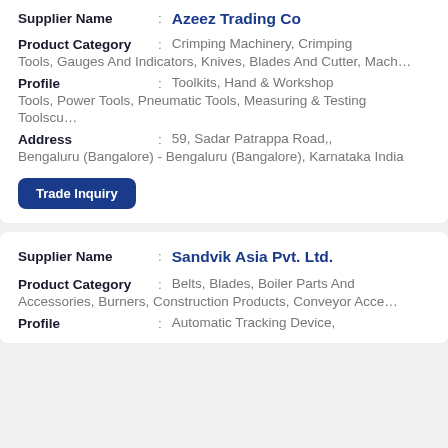| Supplier Name | Azeez Trading Co |
| Product Category | Crimping Machinery, Crimping Tools, Gauges And Indicators, Knives, Blades And Cutter, Mach... |
| Profile | Toolkits, Hand & Workshop Tools, Power Tools, Pneumatic Tools, Measuring & Testing Toolscu... |
| Address | 59, Sadar Patrappa Road,, Bengaluru (Bangalore) - Bengaluru (Bangalore), Karnataka India |
Trade Inquiry
| Supplier Name | Sandvik Asia Pvt. Ltd. |
| Product Category | Belts, Blades, Boiler Parts And Accessories, Burners, Construction Products, Conveyor Acce... |
| Profile | Automatic Tracking Device, |